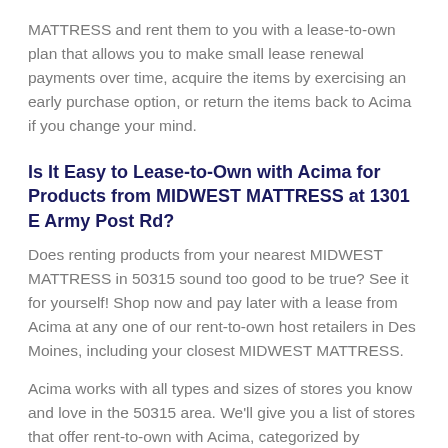MATTRESS and rent them to you with a lease-to-own plan that allows you to make small lease renewal payments over time, acquire the items by exercising an early purchase option, or return the items back to Acima if you change your mind.
Is It Easy to Lease-to-Own with Acima for Products from MIDWEST MATTRESS at 1301 E Army Post Rd?
Does renting products from your nearest MIDWEST MATTRESS in 50315 sound too good to be true? See it for yourself! Shop now and pay later with a lease from Acima at any one of our rent-to-own host retailers in Des Moines, including your closest MIDWEST MATTRESS.
Acima works with all types and sizes of stores you know and love in the 50315 area. We'll give you a list of stores that offer rent-to-own with Acima, categorized by products like tires, eyewear, jewelry, electronics, musical instruments, home